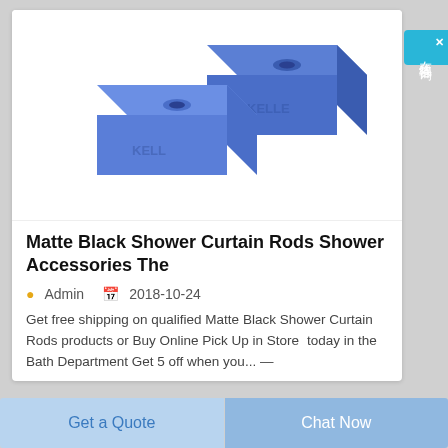[Figure (photo): Two blue square flat hardware pieces (plates/blocks) with countersunk holes, branded with KELLE logo, shown in 3D render style on white background]
Matte Black Shower Curtain Rods Shower Accessories The
Admin  2018-10-24
Get free shipping on qualified Matte Black Shower Curtain Rods products or Buy Online Pick Up in Store today in the Bath Department Get 5 off when you...